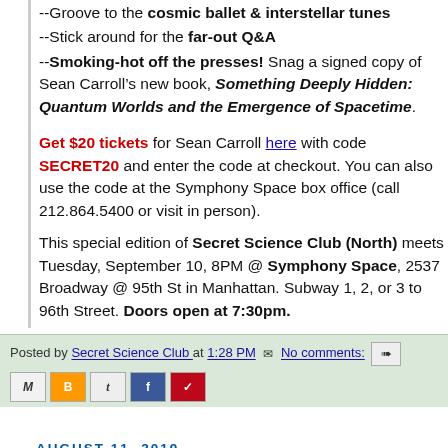--Groove to the cosmic ballet & interstellar tunes
--Stick around for the far-out Q&A
--Smoking-hot off the presses! Snag a signed copy of Sean Carroll’s new book, Something Deeply Hidden: Quantum Worlds and the Emergence of Spacetime.
Get $20 tickets for Sean Carroll here with code SECRET20 and enter the code at checkout. You can also use the code at the Symphony Space box office (call 212.864.5400 or visit in person).
This special edition of Secret Science Club (North) meets Tuesday, September 10, 8PM @ Symphony Space, 2537 Broadway @ 95th St in Manhattan. Subway 1, 2, or 3 to 96th Street. Doors open at 7:30pm.
Posted by Secret Science Club at 1:28 PM  No comments:
AUGUST 11, 2019
Secret Science Club & IFC Films present a sneak